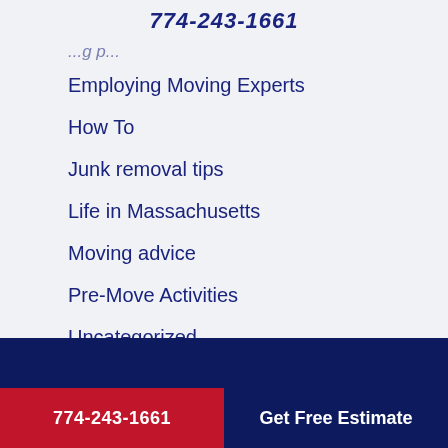774-243-1661
Employing Moving Experts
How To
Junk removal tips
Life in Massachusetts
Moving advice
Pre-Move Activities
Uncategorized
774-243-1661 | Get Free Estimate